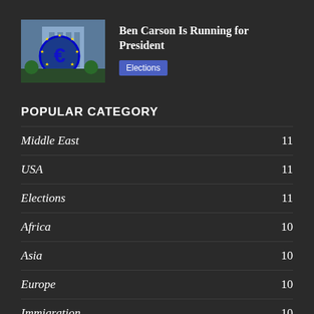[Figure (photo): Thumbnail image showing European Central Bank building with large blue Euro symbol and yellow stars]
Ben Carson Is Running for President
Elections
POPULAR CATEGORY
Middle East 11
USA 11
Elections 11
Africa 10
Asia 10
Europe 10
Immigration 10
Economy 10
Healthcare 10